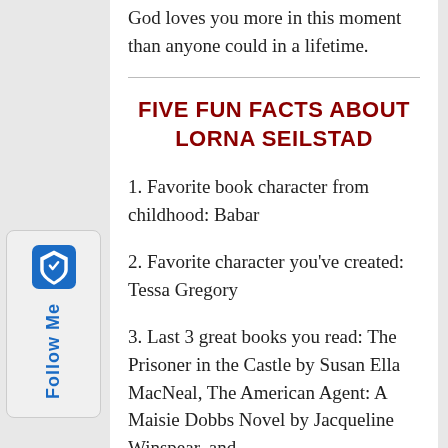God loves you more in this moment than anyone could in a lifetime.
FIVE FUN FACTS ABOUT LORNA SEILSTAD
1. Favorite book character from childhood: Babar
2. Favorite character you've created: Tessa Gregory
3. Last 3 great books you read: The Prisoner in the Castle by Susan Ella MacNeal, The American Agent: A Maisie Dobbs Novel by Jacqueline Winspear, and